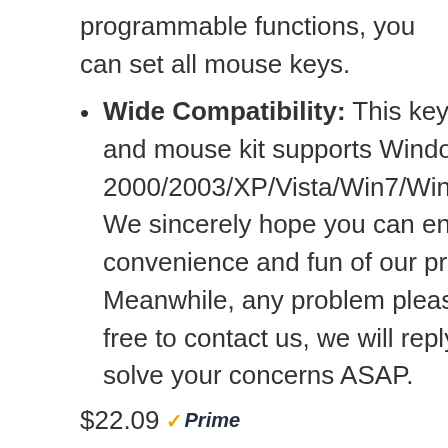programmable functions, you can set all mouse keys.
Wide Compatibility: This keyboard and mouse kit supports Windows 2000/2003/XP/Vista/Win7/Win8/Win10. We sincerely hope you can enjoy the convenience and fun of our products. Meanwhile, any problem please feel free to contact us, we will reply and solve your concerns ASAP.
$22.09 ✓Prime